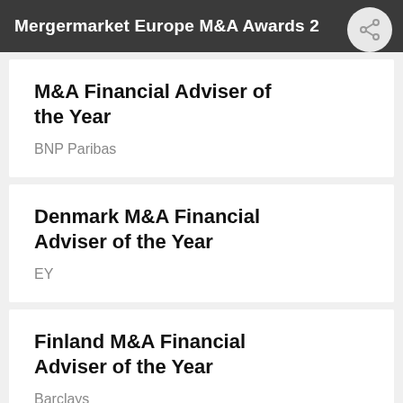Mergermarket Europe M&A Awards 2
M&A Financial Adviser of the Year
BNP Paribas
Denmark M&A Financial Adviser of the Year
EY
Finland M&A Financial Adviser of the Year
Barclays